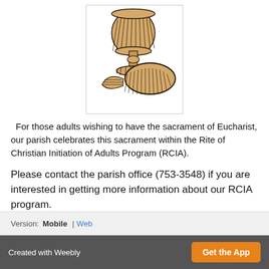[Figure (illustration): Illustration of a chalice and bread (Eucharist symbols) in black line art with tan/beige fill, inside a white rectangle with thin border.]
For those adults wishing to have the sacrament of Eucharist, our parish celebrates this sacrament within the Rite of Christian Initiation of Adults Program (RCIA).
Please contact the parish office (753-3548) if you are interested in getting more information about our RCIA program.
Version: Mobile | Web
Created with Weebly   Get the App